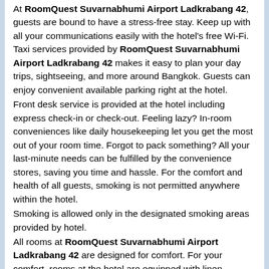At RoomQuest Suvarnabhumi Airport Ladkrabang 42, guests are bound to have a stress-free stay. Keep up with all your communications easily with the hotel's free Wi-Fi. Taxi services provided by RoomQuest Suvarnabhumi Airport Ladkrabang 42 makes it easy to plan your day trips, sightseeing, and more around Bangkok. Guests can enjoy convenient available parking right at the hotel. Front desk service is provided at the hotel including express check-in or check-out. Feeling lazy? In-room conveniences like daily housekeeping let you get the most out of your room time. Forgot to pack something? All your last-minute needs can be fulfilled by the convenience stores, saving you time and hassle. For the comfort and health of all guests, smoking is not permitted anywhere within the hotel. Smoking is allowed only in the designated smoking areas provided by hotel. All rooms at RoomQuest Suvarnabhumi Airport Ladkrabang 42 are designed for comfort. For your comfort, rooms at the hotel are equipped with linen service, blackout curtains and air conditioning. It's good to know that towels are